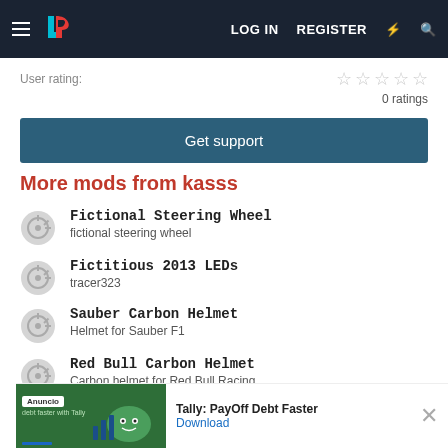LR - LOG IN  REGISTER
User rating:   0 ratings
Get support
More mods from kasss
Fictional Steering Wheel
fictional steering wheel
Fictitious 2013 LEDs
tracer323
Sauber Carbon Helmet
Helmet for Sauber F1
Red Bull Carbon Helmet
Carbon helmet for Red Bull Racing
[Figure (screenshot): Ad banner: Anuncio - Tally: PayOff Debt Faster with Download link]